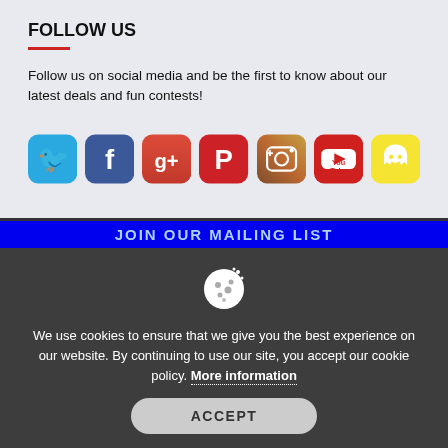FOLLOW US
Follow us on social media and be the first to know about our latest deals and fun contests!
[Figure (infographic): Row of seven social media icons: Twitter (blue bird), Facebook (blue f), Google+ (red g+), Pinterest (red P), Instagram (brown camera), YouTube (red play button), Snapchat (yellow ghost)]
JOIN OUR MAILING LIST (partially visible blue banner)
[Figure (infographic): Cookie consent overlay with dark grey background, cookie icon, text about cookie policy, and ACCEPT button]
We use cookies to ensure that we give you the best experience on our website. By continuing to use our site, you accept our cookie policy. More information
ACCEPT